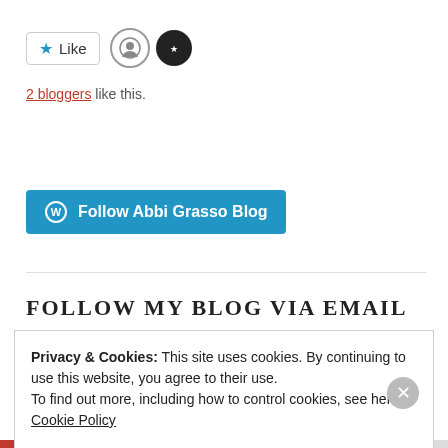[Figure (other): Like button with star icon, two blogger avatar icons beside it]
2 bloggers like this.
[Figure (other): Follow Abbi Grasso Blog button with WordPress icon]
FOLLOW MY BLOG VIA EMAIL
Privacy & Cookies: This site uses cookies. By continuing to use this website, you agree to their use. To find out more, including how to control cookies, see here: Cookie Policy
Close and accept